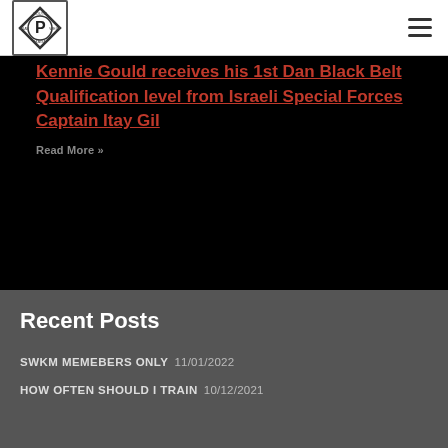[Figure (logo): South West Krav Maga logo — diamond shield with 'P' initial and text around border]
[Figure (other): Hamburger menu icon (three horizontal lines) in top right corner]
Kennie Gould receives his 1st Dan Black Belt Qualification level from Israeli Special Forces Captain Itay Gil
Read More »
Recent Posts
SWKM MEMEBERS ONLY 11/01/2022
HOW OFTEN SHOULD I TRAIN 10/12/2021